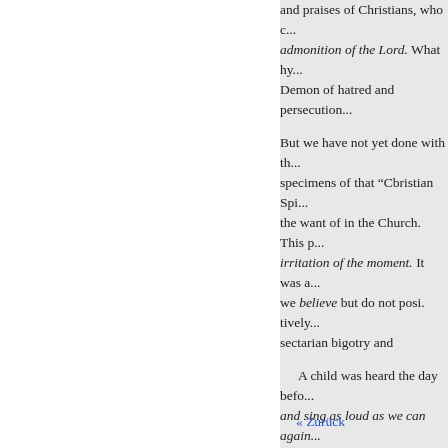and praises of Christians, who c... admonition of the Lord. What hy... Demon of hatred and persecution...
But we have not yet done with th... specimens of that “Cbristian Spi... the want of in the Church. This p... irritation of the moment. It was a... we believe but do not posi. tively... sectarian bigotry and
A child was heard the day befo... and sing as loud as we can again... in it, and regretted they had not s... walking round the assemblage. N... young and thoughtless. It was ar... partisans, of ihe conventicle. Anc... themselves were parties in the fo... Cook, accompanied by the Rev, l... approach of the Clergy the singe... bearing this, stepped off the path
rancour.
« Zurück